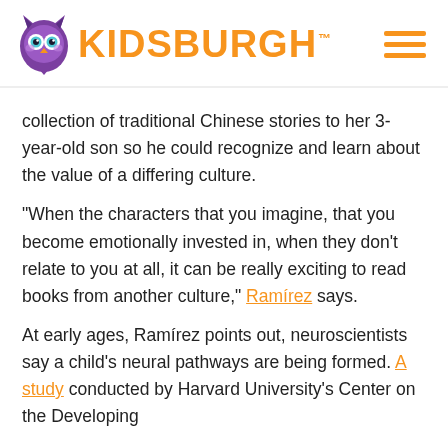KIDSBURGH
collection of traditional Chinese stories to her 3-year-old son so he could recognize and learn about the value of a differing culture.
“When the characters that you imagine, that you become emotionally invested in, when they don’t relate to you at all, it can be really exciting to read books from another culture,” Ramírez says.
At early ages, Ramírez points out, neuroscientists say a child’s neural pathways are being formed. A study conducted by Harvard University’s Center on the Developing